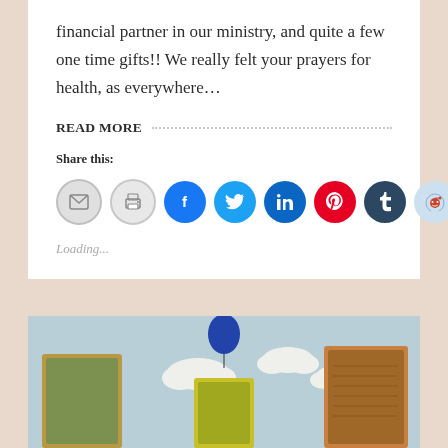financial partner in our ministry, and quite a few one time gifts!! We really felt your prayers for health, as everywhere…
READ MORE
Share this:
[Figure (infographic): Row of social sharing icon buttons: email, print, Facebook, Twitter, LinkedIn, Pinterest, Tumblr, Reddit, Pocket]
Loading...
[Figure (photo): Photo of a children's room or display with a blue sky background, white cloud cutouts, a blue balloon, and framed pictures or boards on a surface.]